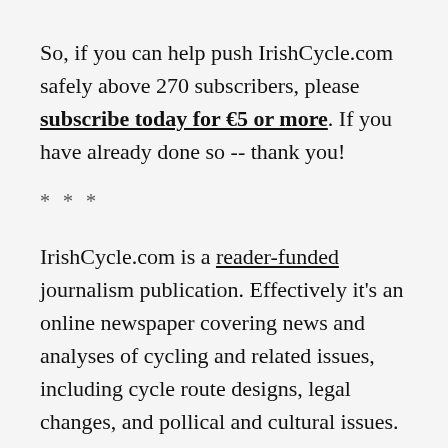So, if you can help push IrishCycle.com safely above 270 subscribers, please subscribe today for €5 or more. If you have already done so -- thank you!
***
IrishCycle.com is a reader-funded journalism publication. Effectively it's an online newspaper covering news and analyses of cycling and related issues, including cycle route designs, legal changes, and pollical and cultural issues.
There are examples, big and small, which show that the reader-funded or listener-funding model can work to support journalism -- from the Dublin